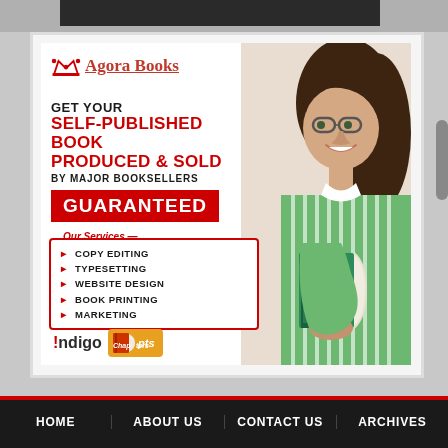[Figure (illustration): Agora Books advertisement banner. Shows logo with crown, Amazon availability badge, headline text 'GET YOUR SELF-PUBLISHED BOOK PRODUCED & SOLD BY MAJOR BOOKSELLERS GUARANTEED', services list (Copy Editing, Typesetting, Website Design, Book Printing, Marketing), Indigo/Chapters logos, and photo of smiling woman holding a green book.]
HOME   ABOUT US   CONTACT US   ARCHIVES